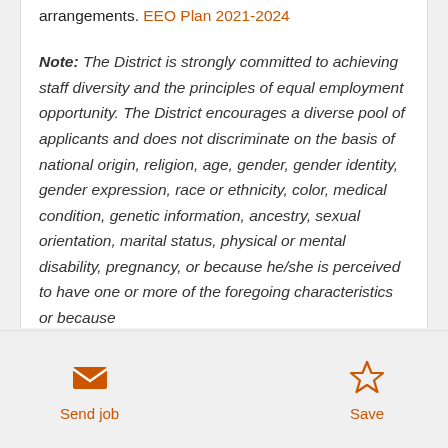arrangements. EEO Plan 2021-2024
Note: The District is strongly committed to achieving staff diversity and the principles of equal employment opportunity. The District encourages a diverse pool of applicants and does not discriminate on the basis of national origin, religion, age, gender, gender identity, gender expression, race or ethnicity, color, medical condition, genetic information, ancestry, sexual orientation, marital status, physical or mental disability, pregnancy, or because he/she is perceived to have one or more of the foregoing characteristics or because
Send job   Save